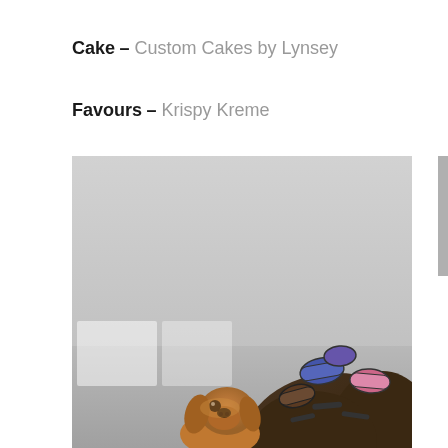Cake – Custom Cakes by Lynsey
Favours – Krispy Kreme
[Figure (photo): A woman with hair rollers/curlers in her hair, seen from behind, with a golden dachshund dog looking up at her. The setting appears to be a bright room with a neutral grey/white background, suggesting a getting-ready scene.]